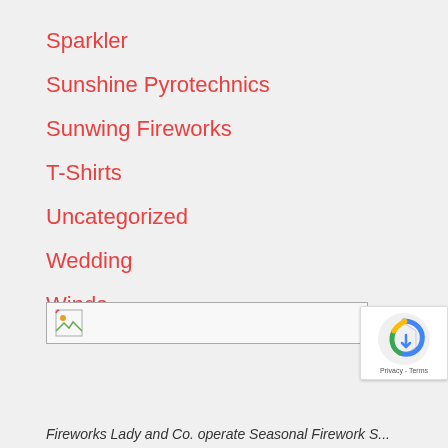Sparkler
Sunshine Pyrotechnics
Sunwing Fireworks
T-Shirts
Uncategorized
Wedding
Winda
[Figure (other): Broken image placeholder with small icon]
[Figure (other): reCAPTCHA badge with Privacy and Terms links]
Fireworks Lady and Co. operate Seasonal Firework S...